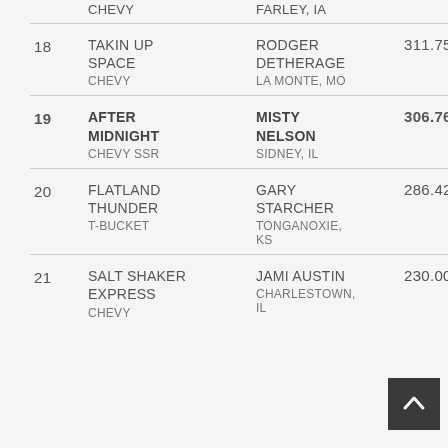| Rank | Entry Name / Vehicle | Owner / Location | Score |
| --- | --- | --- | --- |
|  | CHEVY | FARLEY, IA |  |
| 18 | TAKIN UP SPACE
CHEVY | RODGER DETHERAGE
LA MONTE, MO | 311.75 |
| 19 | AFTER MIDNIGHT
CHEVY SSR | MISTY NELSON
SIDNEY, IL | 306.76 |
| 20 | FLATLAND THUNDER
T-BUCKET | GARY STARCHER
TONGANOXIE, KS | 286.42 |
| 21 | SALT SHAKER EXPRESS
CHEVY | JAMI AUSTIN
CHARLESTOWN, IL | 230.00 |